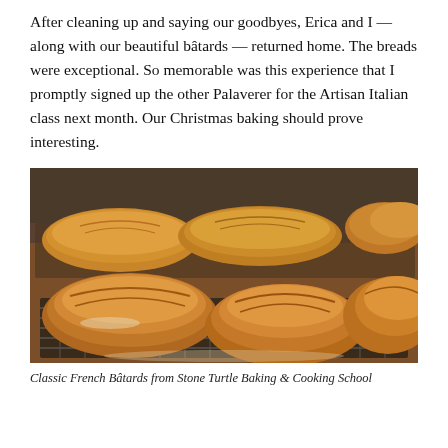After cleaning up and saying our goodbyes, Erica and I — along with our beautiful bâtards — returned home. The breads were exceptional. So memorable was this experience that I promptly signed up the other Palaverer for the Artisan Italian class next month. Our Christmas baking should prove interesting.
[Figure (photo): Photograph of multiple Classic French Bâtards (rustic bread loaves) cooling on wire baking racks on a wooden surface, with a warm golden-brown crusty exterior.]
Classic French Bâtards from Stone Turtle Baking & Cooking School